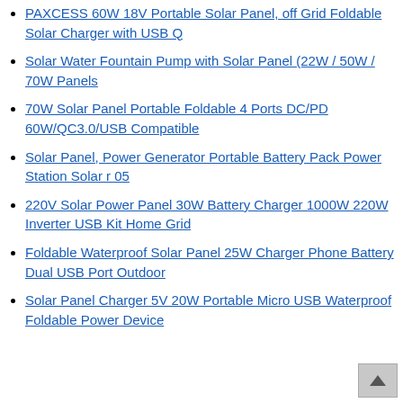PAXCESS 60W 18V Portable Solar Panel, off Grid Foldable Solar Charger with USB Q
Solar Water Fountain Pump with Solar Panel (22W / 50W / 70W Panels
70W Solar Panel Portable Foldable 4 Ports DC/PD 60W/QC3.0/USB Compatible
Solar Panel, Power Generator Portable Battery Pack Power Station Solar r 05
220V Solar Power Panel 30W Battery Charger 1000W 220W Inverter USB Kit Home Grid
Foldable Waterproof Solar Panel 25W Charger Phone Battery Dual USB Port Outdoor
Solar Panel Charger 5V 20W Portable Micro USB Waterproof Foldable Power Device